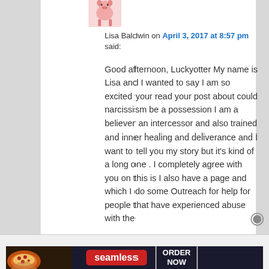[Figure (illustration): Small avatar illustration of a pig-like character standing on two legs]
Lisa Baldwin on April 3, 2017 at 8:57 pm said:
Good afternoon, Luckyotter My name is Lisa and I wanted to say I am so excited your read your post about could narcissism be a possession I am a believer an intercessor and also trained and inner healing and deliverance and I want to tell you my story but it's kind of a long one . I completely agree with you on this is I also have a page and which I do some Outreach for help for people that have experienced abuse with the
Advertisements
[Figure (screenshot): Seamless food delivery advertisement banner with pizza image, seamless logo in red, and ORDER NOW button]